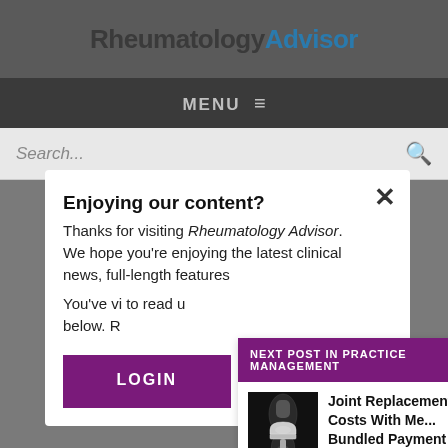RheumatologyAdvisor
MENU ≡
Search...
Enjoying our content?
Thanks for visiting Rheumatology Advisor. We hope you're enjoying the latest clinical news, full-length features and more.

You've viewed a number of articles. Please register to read unlimited articles below. R...
NEXT POST IN PRACTICE MANAGEMENT
[Figure (photo): X-ray image of a knee joint replacement]
Joint Replacement Costs With Me... Bundled Payment Models
LOGIN
REGISTER